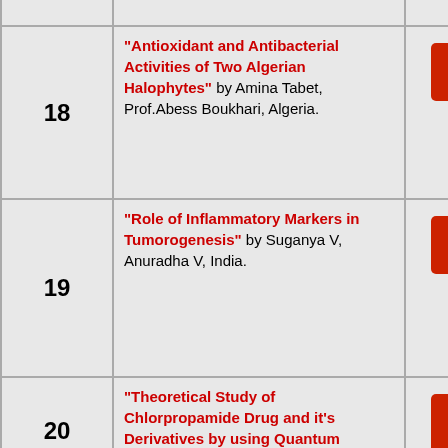| # | Title / Author | PDF |
| --- | --- | --- |
|  | India. |  |
| 18 | "Antioxidant and Antibacterial Activities of Two Algerian Halophytes" by Amina Tabet, Prof.Abess Boukhari, Algeria. | [PDF] |
| 19 | "Role of Inflammatory Markers in Tumorogenesis" by Suganya V, Anuradha V, India. | [PDF] |
| 20 | "Theoretical Study of Chlorpropamide Drug and it's Derivatives by using Quantum Mechanics... | [PDF] |